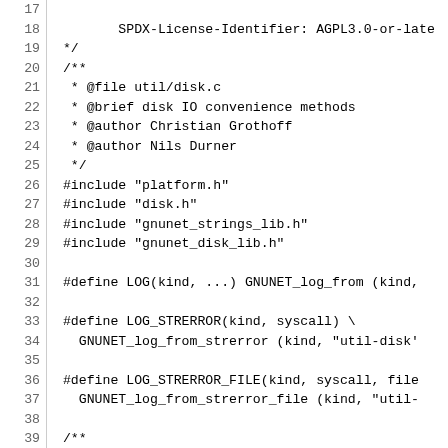Source code listing: util/disk.c, lines 17-47
17
18         SPDX-License-Identifier: AGPL3.0-or-late
19  */
20  /**
21   * @file util/disk.c
22   * @brief disk IO convenience methods
23   * @author Christian Grothoff
24   * @author Nils Durner
25   */
26  #include "platform.h"
27  #include "disk.h"
28  #include "gnunet_strings_lib.h"
29  #include "gnunet_disk_lib.h"
30
31  #define LOG(kind, ...) GNUNET_log_from (kind,
32
33  #define LOG_STRERROR(kind, syscall) \
34    GNUNET_log_from_strerror (kind, "util-disk"
35
36  #define LOG_STRERROR_FILE(kind, syscall, file
37    GNUNET_log_from_strerror_file (kind, "util-
38
39  /**
40   * Block size for IO for copying files.
41   */
42  #define COPY_BLK_SIZE 65536
43
44  #include <sys/types.h>
45  #if HAVE_SYS_VFS_H
46  #include <sys/vfs.h>
47  #.if